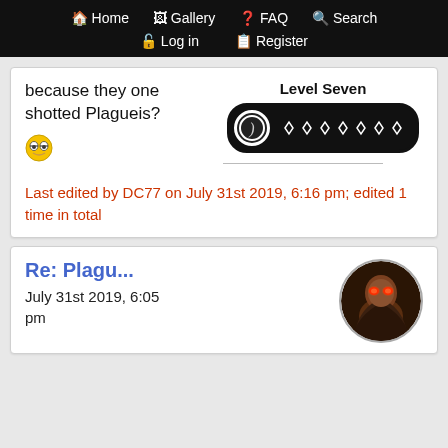Home  Gallery  FAQ  Search  Log in  Register
because they one shotted Plagueis?
[Figure (illustration): Smiley face emoji (nerdy glasses expression)]
Level Seven
[Figure (infographic): Level bar with ball and seven diamond shapes]
Last edited by DC77 on July 31st 2019, 6:16 pm; edited 1 time in total
Re: Plagu...
July 31st 2019, 6:05 pm
[Figure (photo): Circular avatar showing a fantasy/comic character with glowing red eyes]